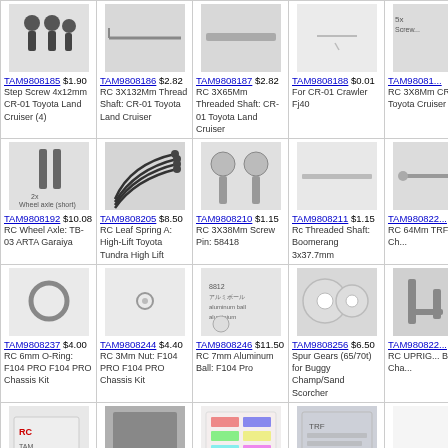| Col1 | Col2 | Col3 | Col4 | Col5 |
| --- | --- | --- | --- | --- |
| TAM9808185 $1.90 Step Screw 4x12mm CR-01 Toyota Land Cruiser (4) | TAM9808186 $2.82 RC 3X132Mm Thread Shaft: CR-01 Toyota Land Cruiser | TAM9808187 $2.82 RC 3X65Mm Threaded Shaft: CR-01 Toyota Land Cruiser | TAM9808188 $0.01 For CR-01 Crawler Fj40 | TAM9808... RC 3X8Mm CR-01 Toyota Cruiser |
| TAM9808192 $10.08 RC Wheel Axle: TB-03 ARTA Garaiya | TAM9808205 $8.50 RC Leaf Spring A: High-Lift Toyota Tundra High Lift | TAM9808210 $1.15 RC 3X38Mm Screw Pin: 58418 | TAM9808211 $1.15 Rc Threaded Shaft: Boomerang 3x37.7mm | TAM9808... RC 64Mm TRF511 Ch... |
| TAM9808237 $4.00 RC 6mm O-Ring: F104 PRO F104 PRO Chassis Kit | TAM9808244 $4.40 RC 3Mm Nut: F104 PRO F104 PRO Chassis Kit | TAM9808246 $11.50 RC 7mm Aluminum Ball: F104 Pro | TAM9808256 $6.50 Spur Gears (65/70t) for Buggy Champ/Sand Scorcher | TAM9808... RC UPRIG... Buggy Cha... |
| TAM9808292 $3.60 RC 3x60mm Screw: CC-01 (XC) Toyota Land Cruiser 40 | TAM9966592 $11.48 Dio. Material Sheet - (S. Pave) | TAMMM023 $4.90 Tamiya Logo Sticker Set | TAMMM024 $4.90 TRF Logo Sticker Set |  |
Thanks for visiting